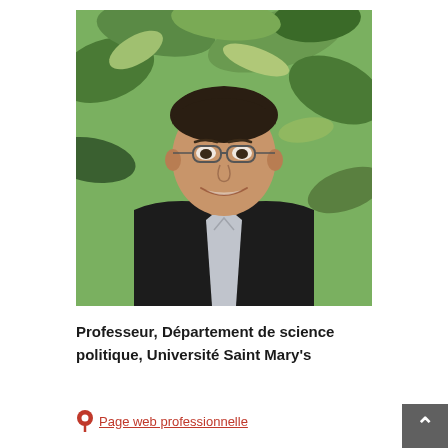[Figure (photo): Professional headshot of a man wearing glasses and a dark blazer over a light checkered shirt, smiling, with green foliage in the background.]
Professeur, Département de science politique, Université Saint Mary's
Page web professionnelle